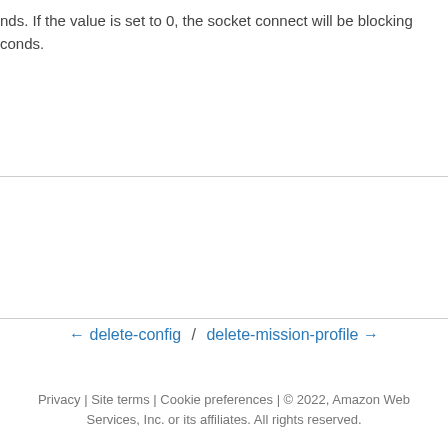nds. If the value is set to 0, the socket connect will be blocking conds.
← delete-config / delete-mission-profile →
Privacy | Site terms | Cookie preferences | © 2022, Amazon Web Services, Inc. or its affiliates. All rights reserved.